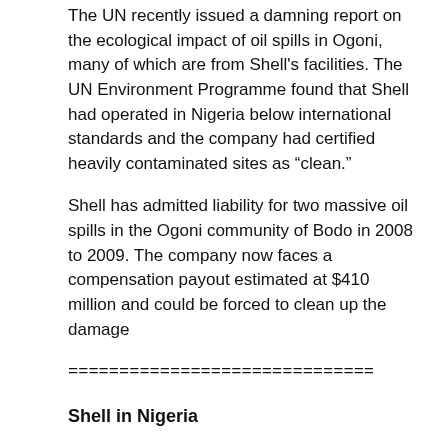The UN recently issued a damning report on the ecological impact of oil spills in Ogoni, many of which are from Shell's facilities. The UN Environment Programme found that Shell had operated in Nigeria below international standards and the company had certified heavily contaminated sites as “clean.”
Shell has admitted liability for two massive oil spills in the Ogoni community of Bodo in 2008 to 2009. The company now faces a compensation payout estimated at $410 million and could be forced to clean up the damage
==============================
Shell in Nigeria
(From the Platform report)
Shell has held a dominant position in Nigeria's oil industry since 1937, when the business then known as Shell D'Arcy was granted an exclusive concession to explore the whole of Nigeria. Commercial oil production began in 1956 at the